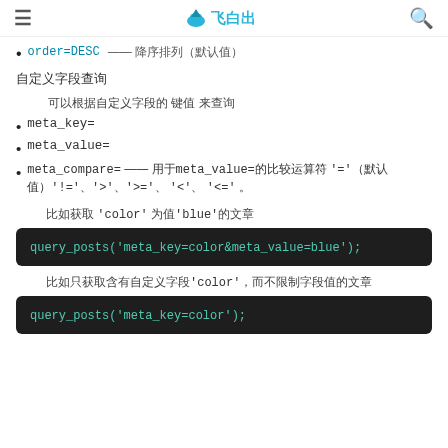飞白出
order=DESC —— 降序排列（默认值）
自定义字段查询
可以根据自定义字段的 键值 来查询
meta_key=
meta_value=
meta_compare= —— 用于meta_value=的比较运算符 '='（默认值）'!='、'>'、'>='、'<'、'<='。
比如获取 'color' 为值'blue'的文章
[Figure (screenshot): Code block showing: query_posts('meta_key=color&meta_value=blue');]
比如只获取含有自定义字段'color'，而不限制字段值的文章
[Figure (screenshot): Code block showing: query_posts('meta_key=color');]